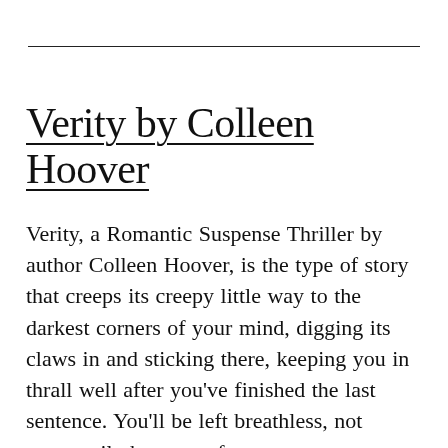Verity by Colleen Hoover
Verity, a Romantic Suspense Thriller by author Colleen Hoover, is the type of story that creeps its creepy little way to the darkest corners of your mind, digging its claws in and sticking there, keeping you in thrall well after you've finished the last sentence. You'll be left breathless, not necessarily because of